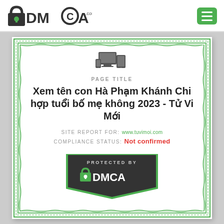[Figure (logo): DMCA.com logo with padlock icon in header]
[Figure (logo): Green hamburger menu button in top right]
[Figure (illustration): DMCA certificate card with guilloche border pattern showing PAGE TITLE, site report, compliance status, and PROTECTED BY DMCA badge]
PAGE TITLE
Xem tên con Hà Phạm Khánh Chi hợp tuổi bố mẹ không 2023 - Tử Vi Mới
SITE REPORT FOR: www.tuvimoi.com
COMPLIANCE STATUS: Not confirmed
PROTECTED BY DMCA